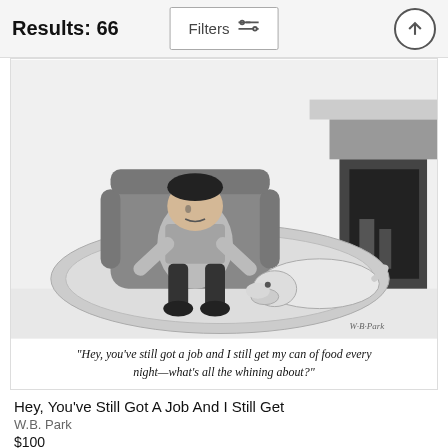Results: 66
[Figure (illustration): New Yorker style cartoon showing a man sitting in an armchair with a dog lying on a rug in front of a fireplace. Caption reads: "Hey, you've still got a job and I still get my can of food every night—what's all the whining about?"]
Hey, You've Still Got A Job And I Still Get
W.B. Park
$100